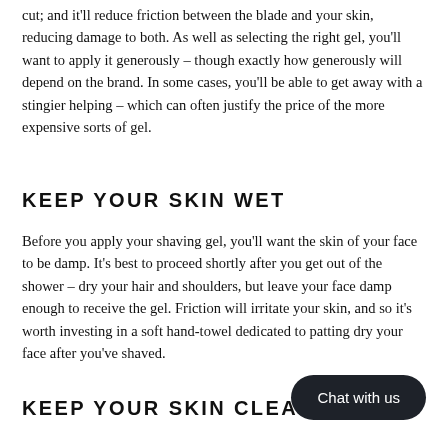cut; and it'll reduce friction between the blade and your skin, reducing damage to both. As well as selecting the right gel, you'll want to apply it generously – though exactly how generously will depend on the brand. In some cases, you'll be able to get away with a stingier helping – which can often justify the price of the more expensive sorts of gel.
KEEP YOUR SKIN WET
Before you apply your shaving gel, you'll want the skin of your face to be damp. It's best to proceed shortly after you get out of the shower – dry your hair and shoulders, but leave your face damp enough to receive the gel. Friction will irritate your skin, and so it's worth investing in a soft hand-towel dedicated to patting dry your face after you've shaved.
KEEP YOUR SKIN CLEAN
Chat with us